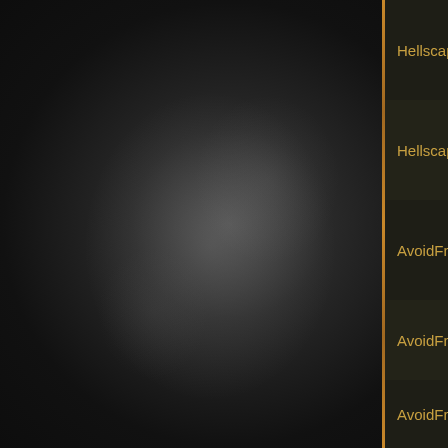[Figure (illustration): Dark smoky background panel on the left side with swirling gray-white smoke/fog against a near-black background, separated from the right panel by a thin golden/amber vertical divider line.]
HellscapeUpsideAvoidElementalStatusAilm
HellscapeUpsideCannotBeFrozen___
AvoidFreezeEldritchImplicit1
AvoidFreezeEldritchImplicit2
AvoidFreezeEldritchImplicitUniquePresenc